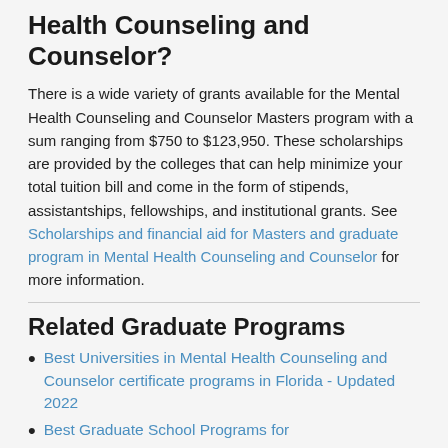Health Counseling and Counselor?
There is a wide variety of grants available for the Mental Health Counseling and Counselor Masters program with a sum ranging from $750 to $123,950. These scholarships are provided by the colleges that can help minimize your total tuition bill and come in the form of stipends, assistantships, fellowships, and institutional grants. See Scholarships and financial aid for Masters and graduate program in Mental Health Counseling and Counselor for more information.
Related Graduate Programs
[Figure (other): Yellow 'Compare Schools' button overlay]
Best Universities in Mental Health Counseling and Counselor certificate programs in Florida - Updated 2022
Best Graduate School Programs for